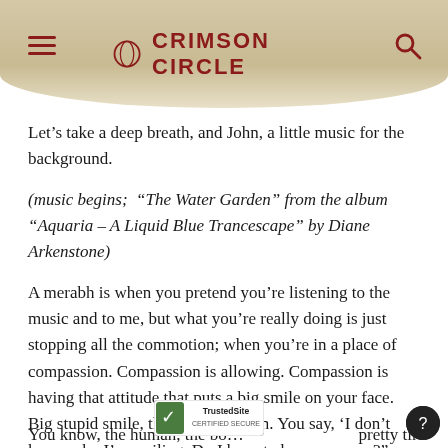CRIMSON CIRCLE
Let’s take a deep breath, and John, a little music for the background.
(music begins; “The Water Garden” from the album “Aquaria – A Liquid Blue Trancescape” by Diane Arkenstone)
A merabh is when you pretend you’re listening to the music and to me, but what you’re really doing is just stopping all the commotion; when you’re in a place of compassion. Compassion is allowing. Compassion is having that attitude that puts a big smile on your face. Big stupid smile, that’s compassion. You say, ‘I don’t know why I’m smiling. Do I have to have a reason?” That’s the attitude.
You know, the human, the bo… pretty tired